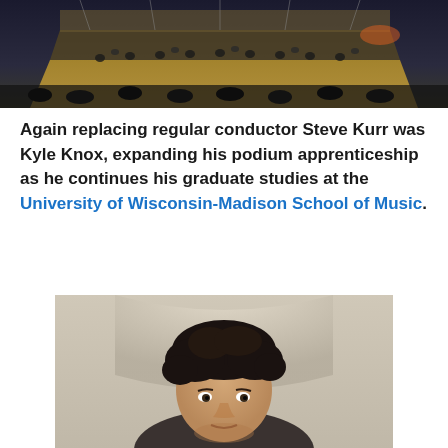[Figure (photo): Concert hall stage with orchestra musicians and lighting rigs visible from audience perspective]
Again replacing regular conductor Steve Kurr was Kyle Knox, expanding his podium apprenticeship as he continues his graduate studies at the University of Wisconsin-Madison School of Music.
[Figure (photo): Portrait of Kyle Knox, a young man with dark curly hair, photographed in front of a curved concrete architectural background]